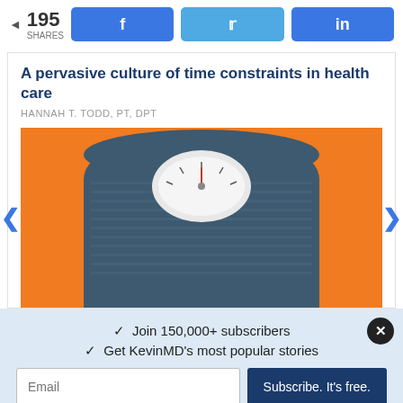195 SHARES | Facebook share | Twitter share | LinkedIn share
A pervasive culture of time constraints in health care
HANNAH T. TODD, PT, DPT
[Figure (photo): A bathroom weight scale with a round analog dial in the center, photographed from above on an orange background.]
✓ Join 150,000+ subscribers
✓ Get KevinMD's most popular stories
Email | Subscribe. It's free.